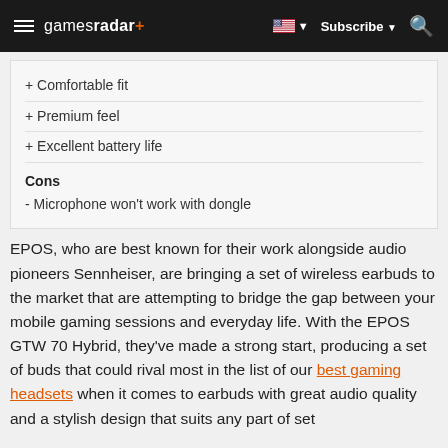gamesradar+  Subscribe
+ Comfortable fit
+ Premium feel
+ Excellent battery life
Cons
- Microphone won't work with dongle
EPOS, who are best known for their work alongside audio pioneers Sennheiser, are bringing a set of wireless earbuds to the market that are attempting to bridge the gap between your mobile gaming sessions and everyday life. With the EPOS GTW 70 Hybrid, they've made a strong start, producing a set of buds that could rival most in the list of our best gaming headsets when it comes to earbuds with great audio quality and a stylish design that suits any part of our